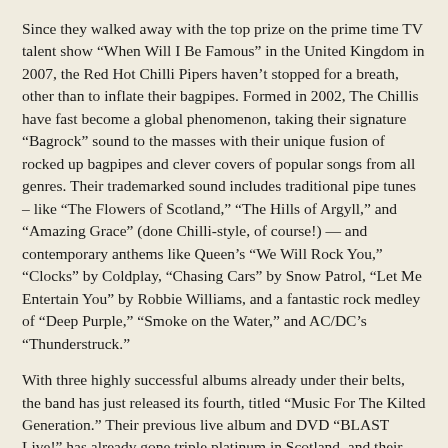Since they walked away with the top prize on the prime time TV talent show “When Will I Be Famous” in the United Kingdom in 2007, the Red Hot Chilli Pipers haven’t stopped for a breath, other than to inflate their bagpipes. Formed in 2002, The Chillis have fast become a global phenomenon, taking their signature “Bagrock” sound to the masses with their unique fusion of rocked up bagpipes and clever covers of popular songs from all genres. Their trademarked sound includes traditional pipe tunes – like “The Flowers of Scotland,” “The Hills of Argyll,” and “Amazing Grace” (done Chilli-style, of course!) — and contemporary anthems like Queen’s “We Will Rock You,” “Clocks” by Coldplay, “Chasing Cars” by Snow Patrol, “Let Me Entertain You” by Robbie Williams, and a fantastic rock medley of “Deep Purple,” “Smoke on the Water,” and AC/DC’s “Thunderstruck.”
With three highly successful albums already under their belts, the band has just released its fourth, titled “Music For The Kilted Generation.” Their previous live album and DVD “BLAST Live!” has already gone triple platinum in Scotland, and their second album “Bagrock To The Masses” received platinum in Scotland and silver status in the UK.
Tickets for this reserved seating concert, presented by DSP Shows, are $28.50 to $38.50 plus service fees and can be purchased at the Smith Opera House box office and online at www.thesmith.org.
The Smith Center for the Arts, stewards of the historic Smith Opera